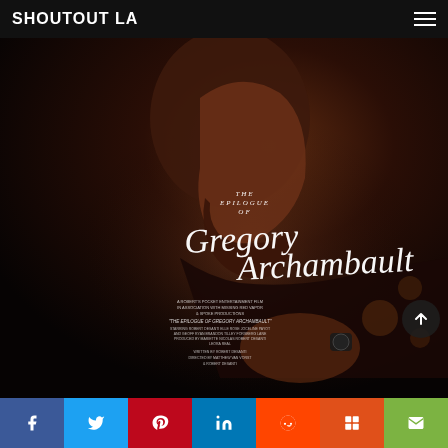SHOUTOUT LA
[Figure (photo): Movie poster for 'The Epilogue of Gregory Archambault' — a dark cinematic image of a bearded man in profile in dim warm light, with stylized script title text overlay reading 'THE EPILOGUE OF Gregory Archambault' and production credits in small text below]
Social share bar: Facebook, Twitter, Pinterest, LinkedIn, Reddit, Mix, Email